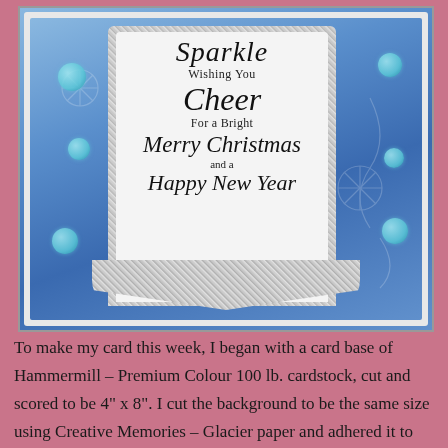[Figure (photo): A handmade Christmas greeting card with a blue snowflake-patterned background, silver glitter frame, white panel with script text reading 'Sparkle Wishing You Cheer For a Bright Merry Christmas and a Happy New Year', and teal glitter bubble embellishments.]
To make my card this week, I began with a card base of Hammermill – Premium Colour 100 lb. cardstock, cut and scored to be 4" x 8". I cut the background to be the same size using Creative Memories – Glacier paper and adhered it to the base card using double-sided tape. I